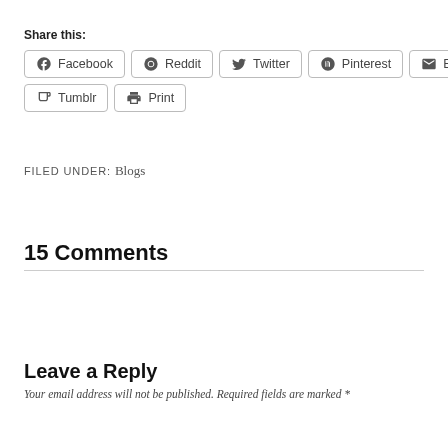Share this:
Facebook
Reddit
Twitter
Pinterest
Email
Tumblr
Print
FILED UNDER: Blogs
15 Comments
Leave a Reply
Your email address will not be published. Required fields are marked *